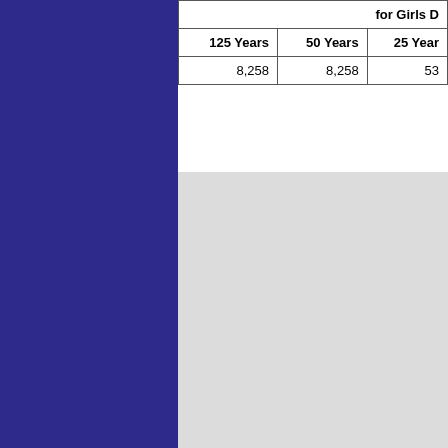| for Girls D | 125 Years | 50 Years | 25 Years |
| --- | --- | --- | --- |
|  | 8,258 | 8,258 | 53 |
The table below indicates the number of times a name was given to baby girls and baby boys each year since the name first appeared in the top thousand girls' names. The first year shown on the table... Katin